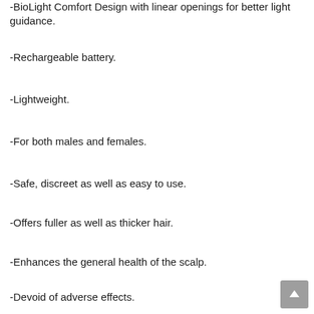-BioLight Comfort Design with linear openings for better light guidance.
-Rechargeable battery.
-Lightweight.
-For both males and females.
-Safe, discreet as well as easy to use.
-Offers fuller as well as thicker hair.
-Enhances the general health of the scalp.
-Devoid of adverse effects.